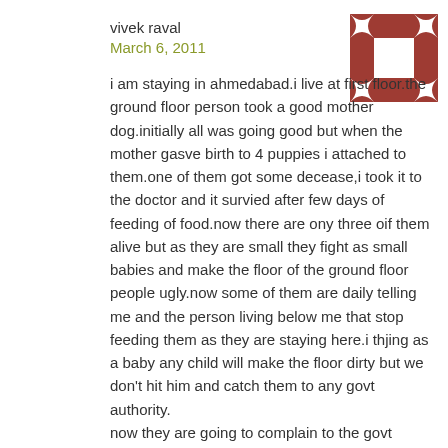vivek raval
March 6, 2011
[Figure (illustration): Decorative avatar icon: a square with a geometric pattern of diamond/star shapes in dark red/brown on white background]
i am staying in ahmedabad.i live at first floor.the ground floor person took a good mother dog.initially all was going good but when the mother gasve birth to 4 puppies i attached to them.one of them got some decease,i took it to the doctor and it survied after few days of feeding of food.now there are ony three oif them alive but as they are small they fight as small babies and make the floor of the ground floor people ugly.now some of them are daily telling me and the person living below me that stop feeding them as they are staying here.i thjing as a baby any child will make the floor dirty but we don't hit him and catch them to any govt authority.
now they are going to complain to the govt authority to catch the puppies with their